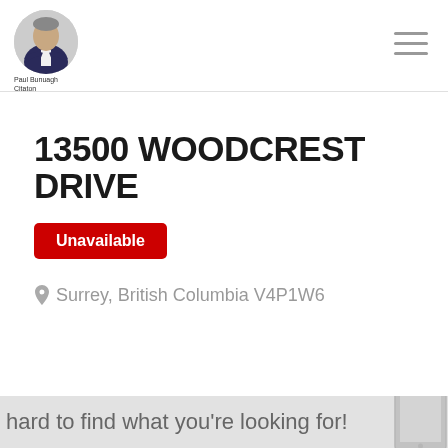Paul Bunuagh Citaton | (604) 273 3131
13500 WOODCREST DRIVE
Unavailable
Surrey, British Columbia V4P1W6
hard to find what you're looking for!